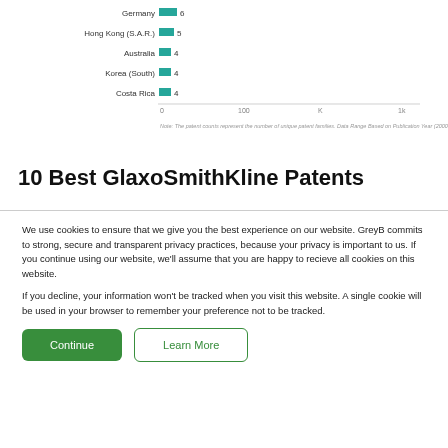[Figure (bar-chart): Patent counts by country (partial)]
Note: The patent counts represent the number of unique patent families. Data Range Based on Publication Year (2000 - 2021).
10 Best GlaxoSmithKline Patents
We use cookies to ensure that we give you the best experience on our website. GreyB commits to strong, secure and transparent privacy practices, because your privacy is important to us. If you continue using our website, we'll assume that you are happy to recieve all cookies on this website.

If you decline, your information won't be tracked when you visit this website. A single cookie will be used in your browser to remember your preference not to be tracked.